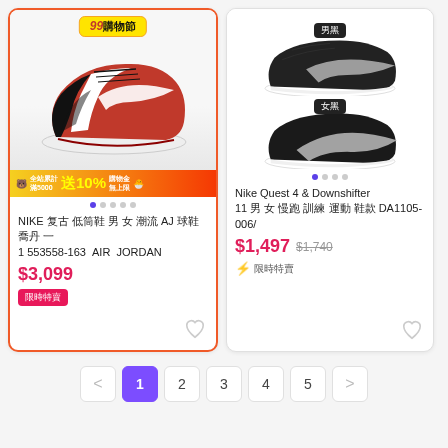[Figure (screenshot): Product card for Nike Air Jordan AJ shoes with 99購物節 promo badge, red and black Air Jordan 1 Low sneakers, promo banner showing 送10% shopping points, price $3,099, dot pagination, heart icon]
NIKE 復古 低筒鞋 男 女 潮流 AJ 球鞋喬丹 一 553558-163  AIR  JORDAN
$3,099
限時特賣
[Figure (screenshot): Product card for Nike Quest 4 & Downshifter 11 running shoes showing men's black and women's black variants, price $1,497 with original $1,740 crossed out, flash sale tag]
Nike Quest 4 & Downshifter 11 男 女 慢跑 訓練 運動 鞋款 DA1105-006/
$1,497
$1,740
⚡ 限時特賣
1  2  3  4  5